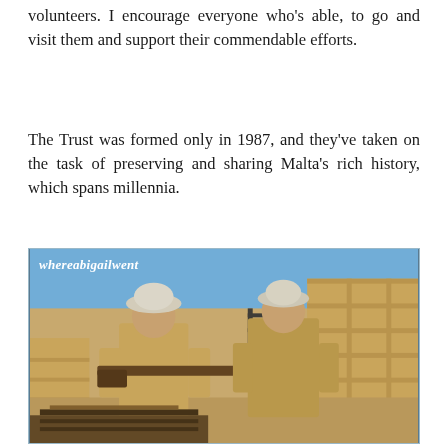volunteers. I encourage everyone who's able, to go and visit them and support their commendable efforts.
The Trust was formed only in 1987, and they've taken on the task of preserving and sharing Malta's rich history, which spans millennia.
[Figure (photo): Two men dressed in British colonial-era military uniforms (khaki with pith helmets) holding a long rifle between them. They are standing in an outdoor fortification area with stone walls. The watermark 'whereabigailwent' appears in the top-left corner.]